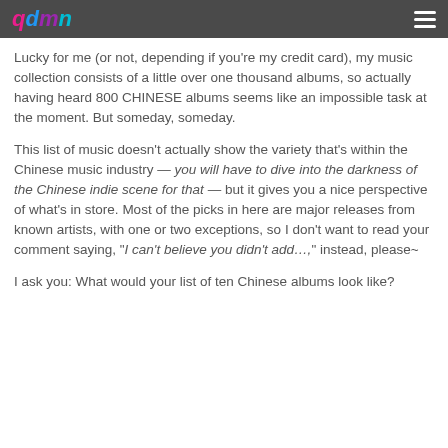qdm (logo)
Lucky for me (or not, depending if you're my credit card), my music collection consists of a little over one thousand albums, so actually having heard 800 CHINESE albums seems like an impossible task at the moment. But someday, someday.
This list of music doesn't actually show the variety that's within the Chinese music industry — you will have to dive into the darkness of the Chinese indie scene for that — but it gives you a nice perspective of what's in store. Most of the picks in here are major releases from known artists, with one or two exceptions, so I don't want to read your comment saying, "I can't believe you didn't add..." instead, please~
I ask you: What would your list of ten Chinese albums look like?